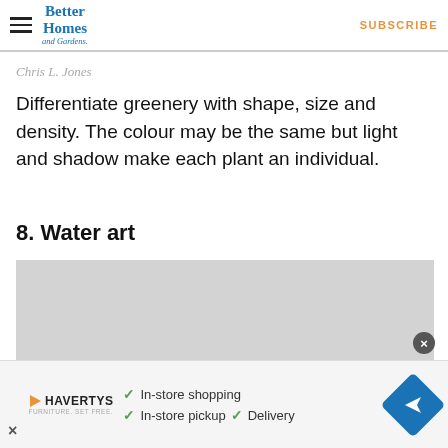Better Homes and Gardens | SUBSCRIBE
Chris L. Jones
Differentiate greenery with shape, size and density. The colour may be the same but light and shadow make each plant an individual.
8. Water art
[Figure (photo): Gray placeholder image for Water art section]
In-store shopping  In-store pickup  Delivery